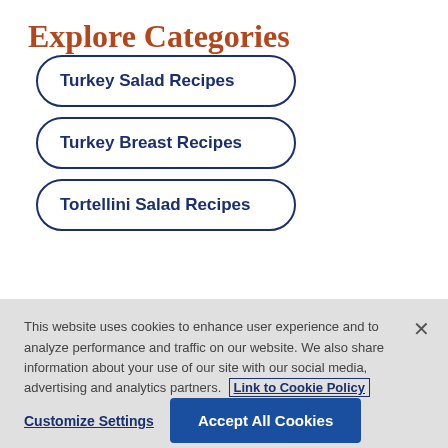Explore Categories
Turkey Salad Recipes
Turkey Breast Recipes
Tortellini Salad Recipes
This website uses cookies to enhance user experience and to analyze performance and traffic on our website. We also share information about your use of our site with our social media, advertising and analytics partners. Link to Cookie Policy
Customize Settings
Accept All Cookies